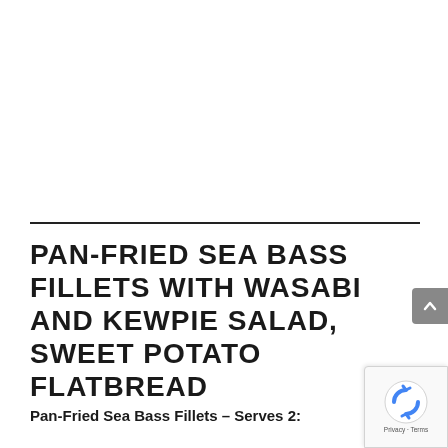PAN-FRIED SEA BASS FILLETS WITH WASABI AND KEWPIE SALAD, SWEET POTATO FLATBREAD
Pan-Fried Sea Bass Fillets – Serves 2: